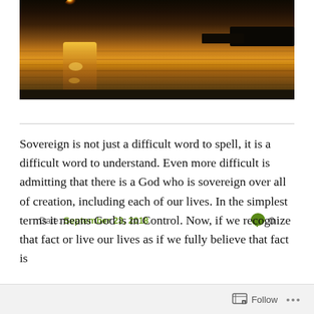[Figure (photo): Sunset over water with golden light reflecting on the surface, dark strip of land/silhouette visible at upper right]
Date: September 23, 2018   💬 0
Sovereign is not just a difficult word to spell, it is a difficult word to understand. Even more difficult is admitting that there is a God who is sovereign over all of creation, including each of our lives. In the simplest terms it means God is in Control. Now, if we recognize that fact or live our lives as if we fully believe that fact is